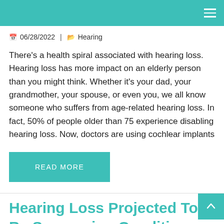06/28/2022 | Hearing
There's a health spiral associated with hearing loss. Hearing loss has more impact on an elderly person than you might think. Whether it's your dad, your grandmother, your spouse, or even you, we all know someone who suffers from age-related hearing loss. In fact, 50% of people older than 75 experience disabling hearing loss. Now, doctors are using cochlear implants
READ MORE
Hearing Loss Projected To Be Surpassing Condition